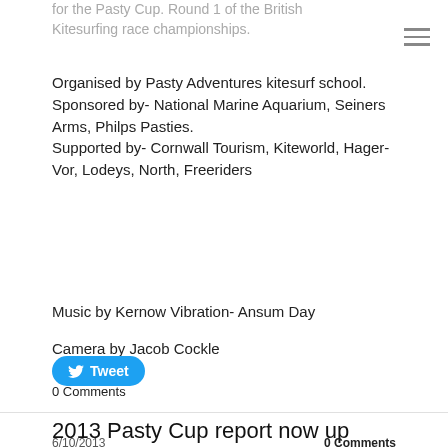for the Pasty Cup. Round 1 of the British Kitesurfing race championships.
Organised by Pasty Adventures kitesurf school. Sponsored by- National Marine Aquarium, Seiners Arms, Philps Pasties. Supported by- Cornwall Tourism, Kiteworld, Hager-Vor, Lodeys, North, Freeriders
Music by Kernow Vibration- Ansum Day
Camera by Jacob Cockle
Tweet
0 Comments
2013 Pasty Cup report now up
6/10/2013
0 Comments